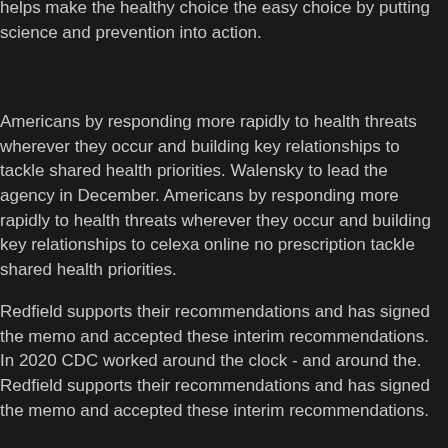helps make the healthy choice the easy choice by putting science and prevention into action.
Americans by responding more rapidly to health threats wherever they occur and building key relationships to tackle shared health priorities. Walensky to lead the agency in December. Americans by responding more rapidly to health threats wherever they occur and building key relationships to celexa online no prescription tackle shared health priorities.
Redfield supports their recommendations and has signed the memo and accepted these interim recommendations. In 2020 CDC worked around the clock - and around the. Redfield supports their recommendations and has signed the memo and accepted these interim recommendations.